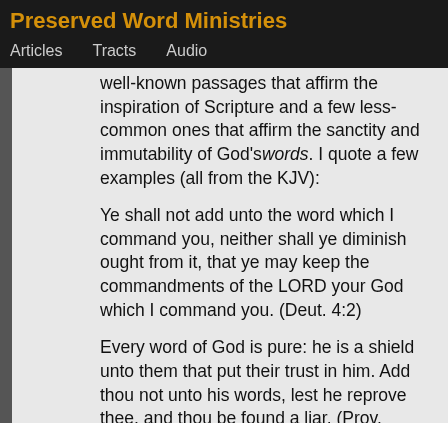Preserved Word Ministries
Articles   Tracts   Audio
well-known passages that affirm the inspiration of Scripture and a few less-common ones that affirm the sanctity and immutability of God's words. I quote a few examples (all from the KJV):
Ye shall not add unto the word which I command you, neither shall ye diminish ought from it, that ye may keep the commandments of the LORD your God which I command you. (Deut. 4:2)
Every word of God is pure: he is a shield unto them that put their trust in him. Add thou not unto his words, lest he reprove thee, and thou be found a liar. (Prov. 30:5,6)
And if any man shall take away from the words of the book of this prophecy, God shall take away his part out of the book of life, and out of the holy city,